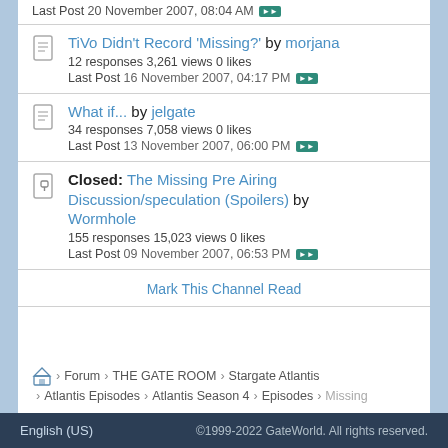Last Post 20 November 2007, 08:04 AM
TiVo Didn't Record 'Missing?' by morjana
12 responses 3,261 views 0 likes
Last Post 16 November 2007, 04:17 PM
What if... by jelgate
34 responses 7,058 views 0 likes
Last Post 13 November 2007, 06:00 PM
Closed: The Missing Pre Airing Discussion/speculation (Spoilers) by Wormhole
155 responses 15,023 views 0 likes
Last Post 09 November 2007, 06:53 PM
Mark This Channel Read
Forum > THE GATE ROOM > Stargate Atlantis > Atlantis Episodes > Atlantis Season 4 > Episodes > Missing
English (US)   ©1999-2022 GateWorld. All rights reserved.